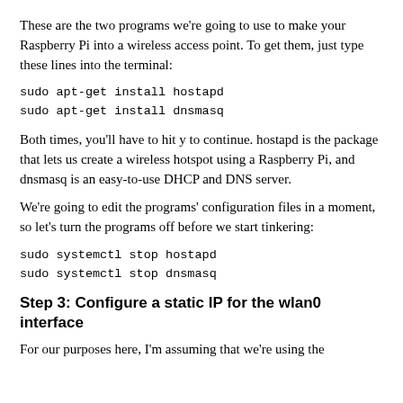These are the two programs we're going to use to make your Raspberry Pi into a wireless access point. To get them, just type these lines into the terminal:
sudo apt-get install hostapd
sudo apt-get install dnsmasq
Both times, you'll have to hit y to continue. hostapd is the package that lets us create a wireless hotspot using a Raspberry Pi, and dnsmasq is an easy-to-use DHCP and DNS server.
We're going to edit the programs' configuration files in a moment, so let's turn the programs off before we start tinkering:
sudo systemctl stop hostapd
sudo systemctl stop dnsmasq
Step 3: Configure a static IP for the wlan0 interface
For our purposes here, I'm assuming that we're using the